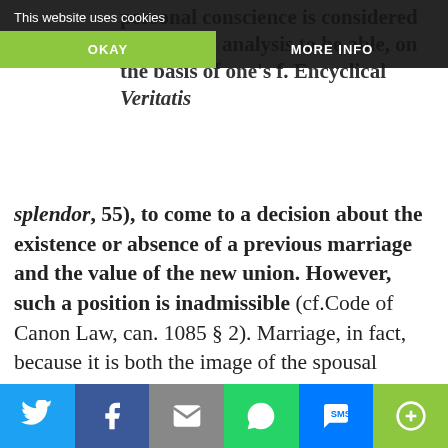This website uses cookies | OKAY | MORE INFO
personal conscience is considered in the final analysis to be able, on the basis of one's f. Encyclical Veritatis splendor, 55), to come to a decision about the existence or absence of a previous marriage and the value of the new union. However, such a position is inadmissible (cf.Code of Canon Law, can. 1085 § 2). Marriage, in fact, because it is both the image of the spousal relationship between Christ and his Church as well as the fundamental core and an important factor in the life of civil society, is essentially a public reality.... Thus the judgment of conscience of one's own marital situation does not regard only the immediate
Twitter | Facebook | Email | WhatsApp | SMS | More